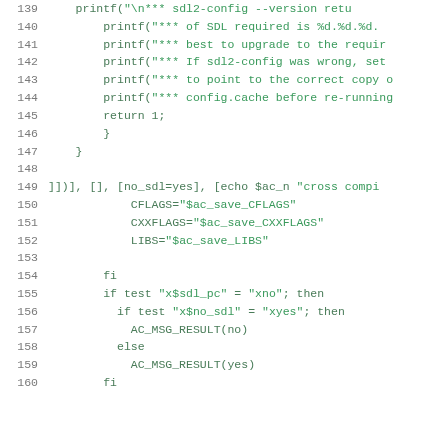[Figure (screenshot): Source code listing showing lines 139–160 of a shell/autoconf script with green monospace text on white background. Lines include printf statements, return, closing braces, SDL configuration checks, CFLAGS/CXXFLAGS/LIBS assignments, fi/if/else conditionals, and AC_MSG_RESULT calls.]